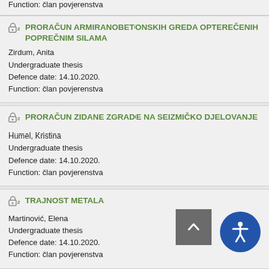Function: član povjerenstva
PRORAČUN ARMIRANOBETONSKIH GREDA OPTEREČENIH POPREČNIM SILAMA
Zirdum, Anita
Undergraduate thesis
Defence date: 14.10.2020.
Function: član povjerenstva
PRORAČUN ZIDANE ZGRADE NA SEIZMIČKO DJELOVANJE
Humel, Kristina
Undergraduate thesis
Defence date: 14.10.2020.
Function: član povjerenstva
TRAJNOST METALA
Martinović, Elena
Undergraduate thesis
Defence date: 14.10.2020.
Function: član povjerenstva
NAJMANJA PLOŠTINA ARMATURE ZA ARMIRANJE BETONSKIH ELEMENATA